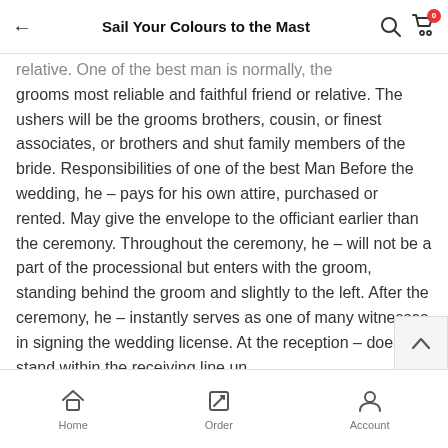Sail Your Colours to the Mast
relative. One of the best man is normally, the grooms most reliable and faithful friend or relative. The ushers will be the grooms brothers, cousin, or finest associates, or brothers and shut family members of the bride. Responsibilities of one of the best Man Before the wedding, he – pays for his own attire, purchased or rented. May give the envelope to the officiant earlier than the ceremony. Throughout the ceremony, he – will not be a part of the processional but enters with the groom, standing behind the groom and slightly to the left. After the ceremony, he – instantly serves as one of many witnesses in signing the wedding license. At the reception – doesn\'t stand within the receiving line un
Home  Order  Account